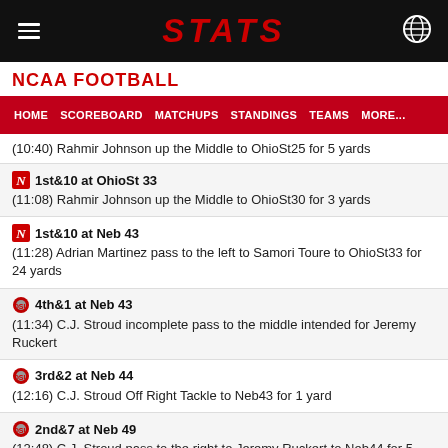STATS
NCAA FOOTBALL
HOME | SCOREBOARD | MATCHUPS | STANDINGS | TEAMS | MORE...
(10:40) Rahmir Johnson up the Middle to OhioSt25 for 5 yards
N 1st&10 at OhioSt 33 | (11:08) Rahmir Johnson up the Middle to OhioSt30 for 3 yards
N 1st&10 at Neb 43 | (11:28) Adrian Martinez pass to the left to Samori Toure to OhioSt33 for 24 yards
Ohio St 4th&1 at Neb 43 | (11:34) C.J. Stroud incomplete pass to the middle intended for Jeremy Ruckert
Ohio St 3rd&2 at Neb 44 | (12:16) C.J. Stroud Off Right Tackle to Neb43 for 1 yard
Ohio St 2nd&7 at Neb 49 | (12:48) C.J. Stroud pass to the right to Jeremy Ruckert to Neb44 for 5 yards
Ohio St 1st&10 at OhioSt 48